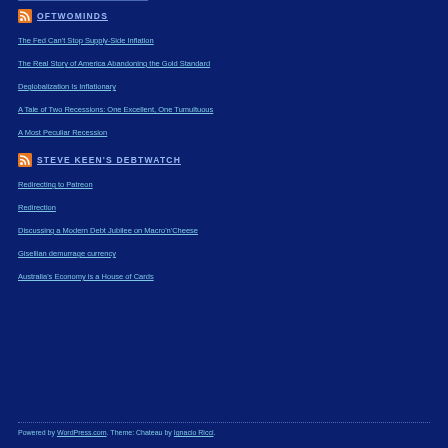OFTWOMINDS
The Fed Can't Stop Supply-Side Inflation
The Real Story of America Abandoning the Gold Standard
Deglobalization Is Inflationary
A Tale of Two Recessions: One Excellent, One Tumultuous
A Most Peculiar Recession
STEVE KEEN'S DEBTWATCH
Redirecting to Patreon
Redirection
Discussing a Modern Debt Jubilee on Macro'n'Cheese
Gisellian demurrage currency
Australia's Economy is a House of Cards
Powered by WordPress.com. Theme: Chateau by Ignacio Ricci.